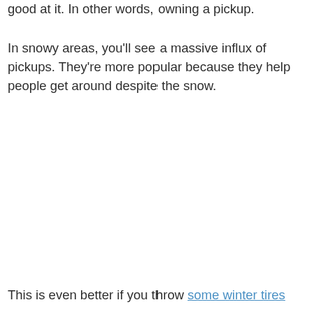good at it. In other words, owning a pickup.
In snowy areas, you’ll see a massive influx of pickups. They’re more popular because they help people get around despite the snow.
This is even better if you throw some winter tires